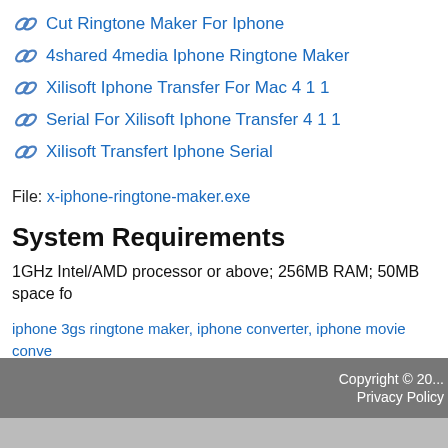Cut Ringtone Maker For Iphone
4shared 4media Iphone Ringtone Maker
Xilisoft Iphone Transfer For Mac 4 1 1
Serial For Xilisoft Iphone Transfer 4 1 1
Xilisoft Transfert Iphone Serial
File: x-iphone-ringtone-maker.exe
System Requirements
1GHz Intel/AMD processor or above; 256MB RAM; 50MB space fo
iphone 3gs ringtone maker, iphone converter, iphone movie conve converter for iphone
Copyright © 20... Privacy Policy